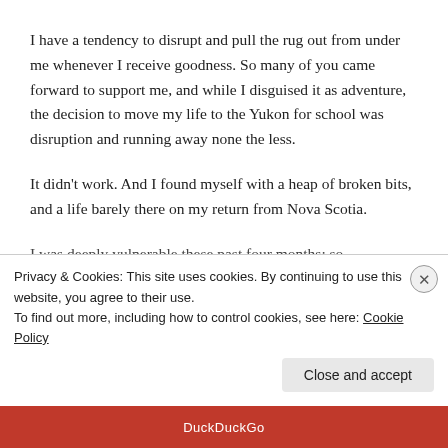I have a tendency to disrupt and pull the rug out from under me whenever I receive goodness. So many of you came forward to support me, and while I disguised it as adventure, the decision to move my life to the Yukon for school was disruption and running away none the less.
It didn't work. And I found myself with a heap of broken bits, and a life barely there on my return from Nova Scotia.
I was deeply vulnerable these past four months: so
Privacy & Cookies: This site uses cookies. By continuing to use this website, you agree to their use.
To find out more, including how to control cookies, see here: Cookie Policy
Close and accept
[Figure (screenshot): Bottom bar with DuckDuckGo text on dark red background]